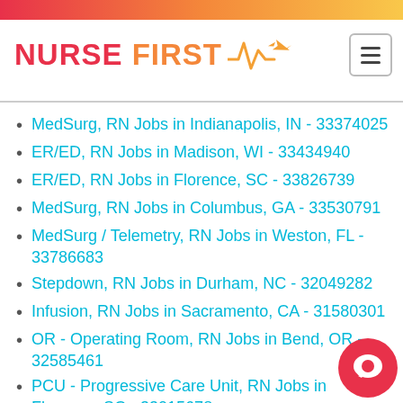[Figure (logo): Nurse First logo with heartbeat line and airplane icon]
MedSurg, RN Jobs in Indianapolis, IN - 33374025
ER/ED, RN Jobs in Madison, WI - 33434940
ER/ED, RN Jobs in Florence, SC - 33826739
MedSurg, RN Jobs in Columbus, GA - 33530791
MedSurg / Telemetry, RN Jobs in Weston, FL - 33786683
Stepdown, RN Jobs in Durham, NC - 32049282
Infusion, RN Jobs in Sacramento, CA - 31580301
OR - Operating Room, RN Jobs in Bend, OR - 32585461
PCU - Progressive Care Unit, RN Jobs in Florence, SC - 33015678
MedSurg, RN Jobs in Columbus, GA - 331223…
Oncology, RN Jobs in Beckley, WV - 33366275